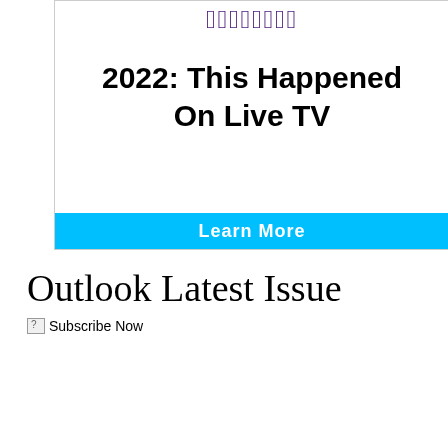[Figure (screenshot): Advertisement banner with stylized script logo at top in purple, bold title '2022: This Happened On Live TV' in center, and a cyan/light-blue button bar at the bottom]
Outlook Latest Issue
Subscribe Now